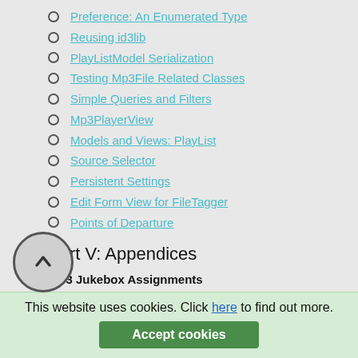Preference: An Enumerated Type
Reusing id3lib
PlayListModel Serialization
Testing Mp3File Related Classes
Simple Queries and Filters
Mp3PlayerView
Models and Views: PlayList
Source Selector
Persistent Settings
Edit Form View for FileTagger
Points of Departure
Part V: Appendices
MP3 Jukebox Assignments
MP3 Jukebox Assignments
Appendix A. C++ Reserved Keywords
Appendix B. Standard Headers
Appendix C. The Development Environment
Section C.1. The Preprocessor: For #including Files
Section C.1. Qt Assistant and Designer